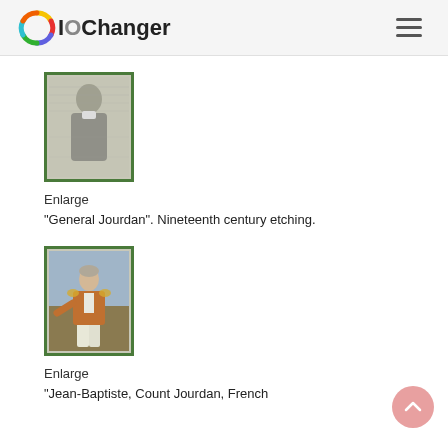IOChanger
[Figure (illustration): Black and white etching portrait of General Jourdan, 19th century style, within a green-bordered frame]
Enlarge
"General Jourdan". Nineteenth century etching.
[Figure (illustration): Color painting portrait of Jean-Baptiste, Count Jourdan, French general, in military uniform, within a green-bordered frame]
Enlarge
"Jean-Baptiste, Count Jourdan, French